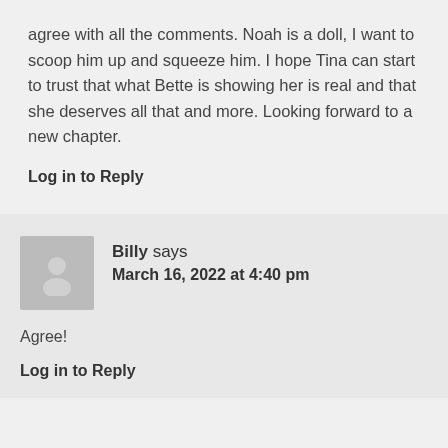agree with all the comments. Noah is a doll, I want to scoop him up and squeeze him. I hope Tina can start to trust that what Bette is showing her is real and that she deserves all that and more. Looking forward to a new chapter.
Log in to Reply
Billy says March 16, 2022 at 4:40 pm
Agree!
Log in to Reply